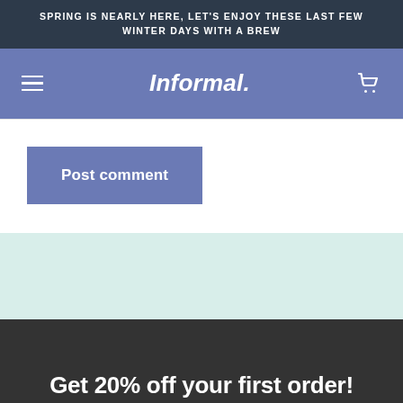SPRING IS NEARLY HERE, LET'S ENJOY THESE LAST FEW WINTER DAYS WITH A BREW
Informal.
Post comment
Get 20% off your first order!